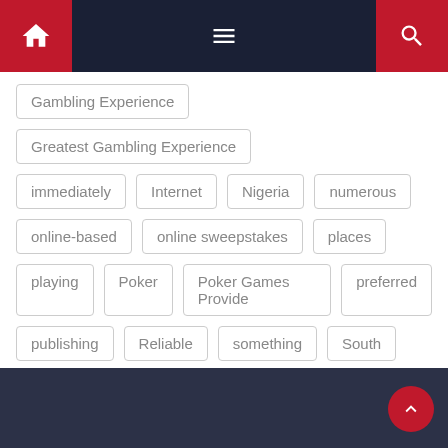Navigation bar with home, menu, and search icons
Gambling Experience
Greatest Gambling Experience
immediately
Internet
Nigeria
numerous
online-based
online sweepstakes
places
playing
Poker
Poker Games Provide
preferred
publishing
Reliable
something
South
Sweepstakes Together
symbol
undertake
Vacationers
Winning
Winning Contests
Win Winning
without any Deposit
Footer bar with scroll-to-top button